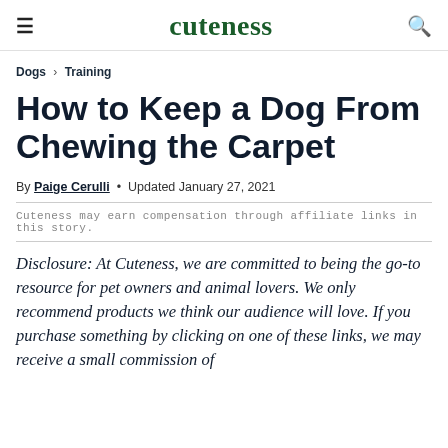≡  cuteness  🔍
Dogs › Training
How to Keep a Dog From Chewing the Carpet
By Paige Cerulli • Updated January 27, 2021
Cuteness may earn compensation through affiliate links in this story.
Disclosure: At Cuteness, we are committed to being the go-to resource for pet owners and animal lovers. We only recommend products we think our audience will love. If you purchase something by clicking on one of these links, we may receive a small commission of